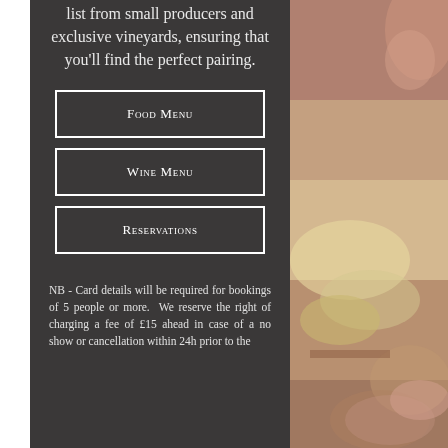list from small producers and exclusive vineyards, ensuring that you'll find the perfect pairing.
Food Menu
Wine Menu
Reservations
NB - Card details will be required for bookings of 5 people or more. We reserve the right of charging a fee of £15 ahead in case of a no show or cancellation within 24h prior to the
[Figure (photo): Close-up photo of food being prepared, showing hands and food items with warm tones]